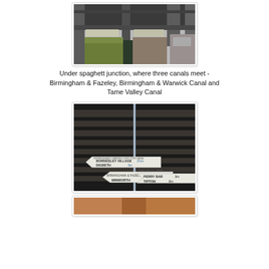[Figure (photo): View from under Spaghetti Junction motorway interchange looking along a canal channel, with concrete pillars, overgrown vegetation and graffiti visible.]
Under spaghett junction, where three canals meet - Birmingham & Fazeley, Birmingham & Warwick Canal and Tame Valley Canal
[Figure (photo): Canal signpost showing directions to Bordesley Village, Digbeth, Minworth, Tamworth, Perry Bar and Tipton, under the motorway.]
[Figure (photo): Partially visible third photo at bottom of page.]